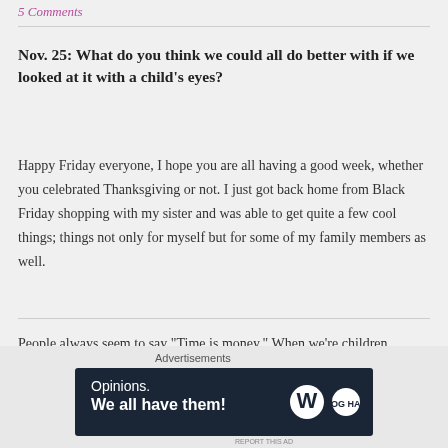5 Comments
Nov. 25: What do you think we could all do better with if we looked at it with a child's eyes?
Happy Friday everyone, I hope you are all having a good week, whether you celebrated Thanksgiving or not. I just got back home from Black Friday shopping with my sister and was able to get quite a few cool things; things not only for myself but for some of my family members as well.
People always seem to say “Time is money.” When we’re children we really have no concept of time. We are awake when it’s light and asleep
[Figure (other): Advertisement banner: dark navy background with 'Opinions. We all have them!' text in white, WordPress logo and another circular logo on the right side.]